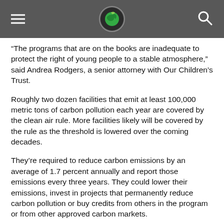[Navigation header with logo]
“The programs that are on the books are inadequate to protect the right of young people to a stable atmosphere,” said Andrea Rodgers, a senior attorney with Our Children’s Trust.
Roughly two dozen facilities that emit at least 100,000 metric tons of carbon pollution each year are covered by the clean air rule. More facilities likely will be covered by the rule as the threshold is lowered over the coming decades.
They’re required to reduce carbon emissions by an average of 1.7 percent annually and report those emissions every three years. They could lower their emissions, invest in projects that permanently reduce carbon pollution or buy credits from others in the program or from other approved carbon markets.